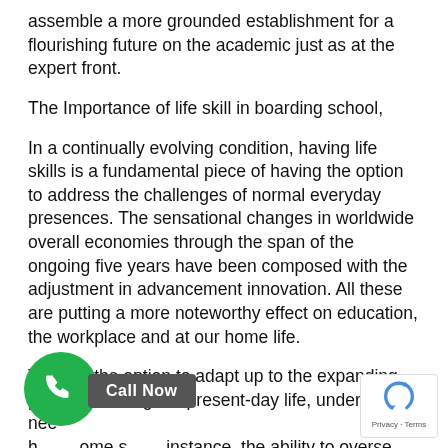assemble a more grounded establishment for a flourishing future on the academic just as at the expert front.
The Importance of life skill in boarding school,
In a continually evolving condition, having life skills is a fundamental piece of having the option to address the challenges of normal everyday presences. The sensational changes in worldwide overall economies through the span of the ongoing five years have been composed with the adjustment in advancement innovation. All these are putting a more noteworthy effect on education, the workplace and at our home life.
To have the option to adapt up to the expanding pace and change of present-day life, understudies need to have some instance, the ability to oversee weight and dissatisfaction.